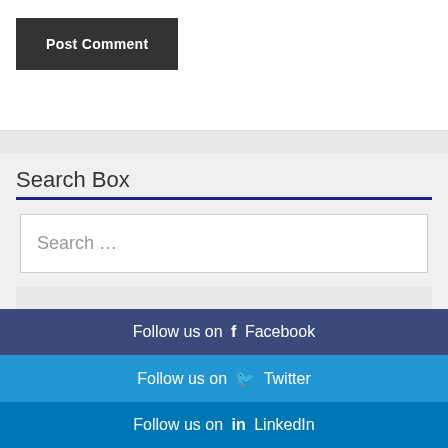[Figure (other): Post Comment button — dark gray rectangular button with white bold text]
Search Box
[Figure (other): Search input box with placeholder text 'Search ...']
Follow us on  Facebook
Follow us on  Twitter
Follow us on  LinkedIn